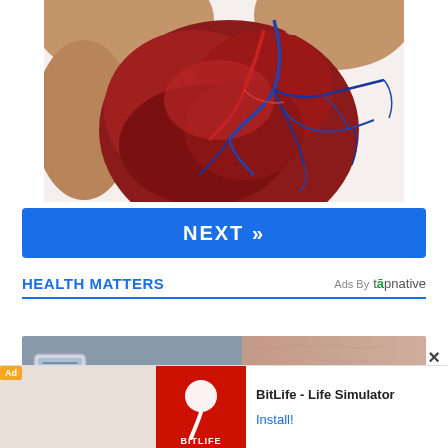[Figure (illustration): 3D anatomical illustration of a human heart showing red cardiac muscle tissue with blue and red coronary vessels/arteries branching across the surface, hands visible at top]
NEXT »
HEALTH MATTERS
Ads By tapnative
[Figure (photo): Advertisement banner showing a medical device on the left side and skin texture on the right side with a close X button]
[Figure (screenshot): BitLife - Life Simulator mobile app advertisement with red background, sperm icon, and Install button]